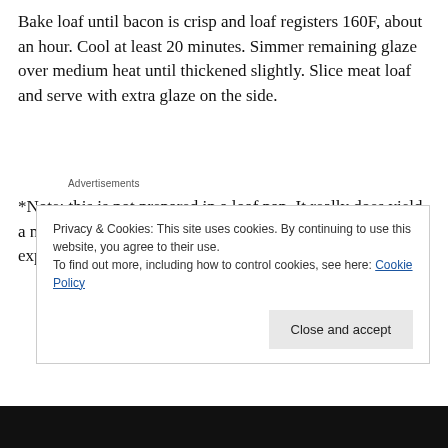Bake loaf until bacon is crisp and loaf registers 160F, about an hour. Cool at least 20 minutes. Simmer remaining glaze over medium heat until thickened slightly. Slice meat loaf and serve with extra glaze on the side.
Advertisements
*Note: this is not prepared in a loaf pan. It really does yield a nicer finished result, the sides and top crunchy since all exposed. Resist the inclination to use a loaf pan. You'll be
Privacy & Cookies: This site uses cookies. By continuing to use this website, you agree to their use.
To find out more, including how to control cookies, see here: Cookie Policy
Close and accept